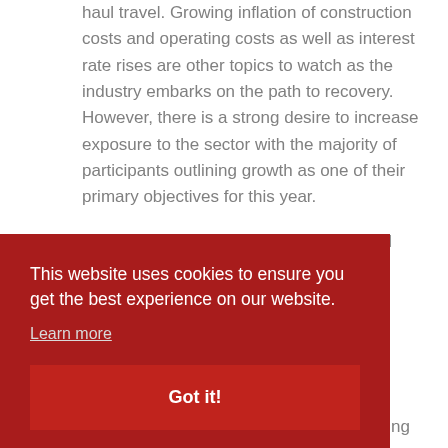haul travel. Growing inflation of construction costs and operating costs as well as interest rate rises are other topics to watch as the industry embarks on the path to recovery. However, there is a strong desire to increase exposure to the sector with the majority of participants outlining growth as one of their primary objectives for this year.
Lenders reduced loan-to-value ratios and increased interest rates for serviced...
This website uses cookies to ensure you get the best experience on our website.
Learn more
Got it!
majority of loans will be a mix of refinancing